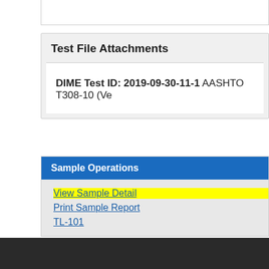Test File Attachments
DIME Test ID: 2019-09-30-11-1 AASHTO T308-10 (Ve...
Sample Operations
View Sample Detail
Print Sample Report
TL-101